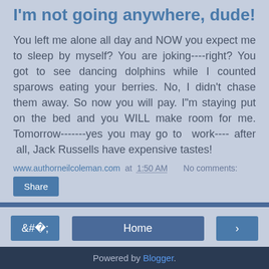I'm not going anywhere, dude!
You left me alone all day and NOW you expect me to sleep by myself? You are joking----right? You got to see dancing dolphins while I counted sparows eating your berries. No, I didn't chase them away. So now you will pay. I"m staying put on the bed and you WILL make room for me. Tomorrow-------yes you may go to  work---- after  all, Jack Russells have expensive tastes!
www.authorneilcoleman.com at 1:50 AM    No comments:
Share
Home
View web version
Powered by Blogger.